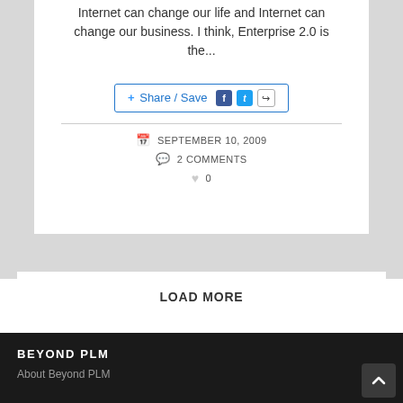Internet can change our life and Internet can change our business. I think, Enterprise 2.0 is the...
[Figure (other): Share/Save button with Facebook, Twitter, and generic share icons]
SEPTEMBER 10, 2009
2 COMMENTS
0
LOAD MORE
BEYOND PLM
About Beyond PLM